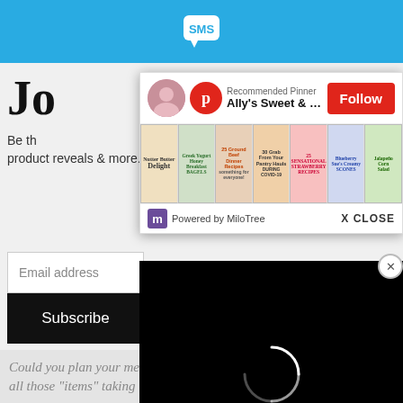[Figure (screenshot): Blue top bar with SMS chat bubble logo icon]
Jo
Be th... product reveals & more.
[Figure (screenshot): Pinterest popup overlay showing Recommended Pinner: Ally's Sweet & Savory Eats with Follow button and grid of food recipe images, powered by MiloTree with X CLOSE button]
Email address
Subscribe
[Figure (screenshot): Black video loading overlay with spinning loading circle and CLOSE button]
Could you plan your meals and eat out of the freezer to use up all those "items" taking up space?